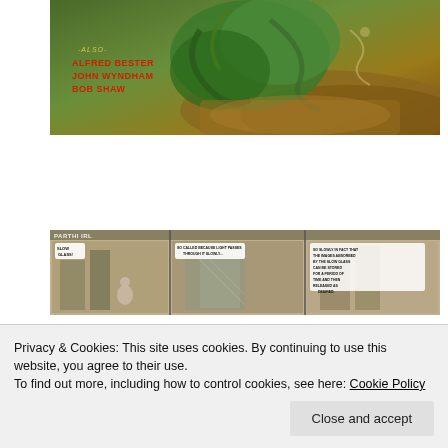[Figure (illustration): Top portion of a science fiction magazine/book cover showing green alien creature artwork with text '-ALSO- ALFRED BESTER JOHN WYNDHAM BOB SHAW' in red bold letters on the left side against a colorful illustrated background]
[Figure (illustration): Black and white comic strip panels showing 'SLOW GLASS' concept with speech bubbles reading 'SO CALLED BECAUSE LIGHT PASSES THROUGH IT SLOWLY...' and 'SO SLOWLY IN FACT THAT THE IMAGES ABSORBED BY THE SLOW GLASS CAN BE STORED FOR A PERIOD OF TIME AND THEN RELEASED AS DESIRED.']
Privacy & Cookies: This site uses cookies. By continuing to use this website, you agree to their use.
To find out more, including how to control cookies, see here: Cookie Policy
Close and accept